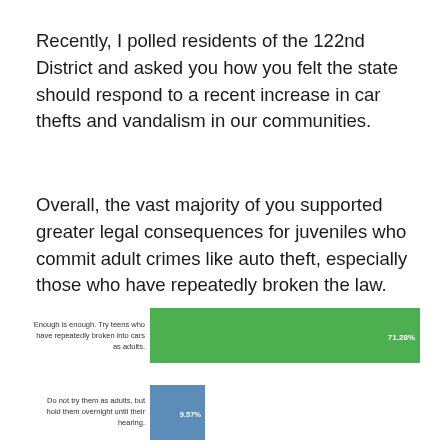Recently, I polled residents of the 122nd District and asked you how you felt the state should respond to a recent increase in car thefts and vandalism in our communities.
Overall, the vast majority of you supported greater legal consequences for juveniles who commit adult crimes like auto theft, especially those who have repeatedly broken the law.
[Figure (bar-chart): ]